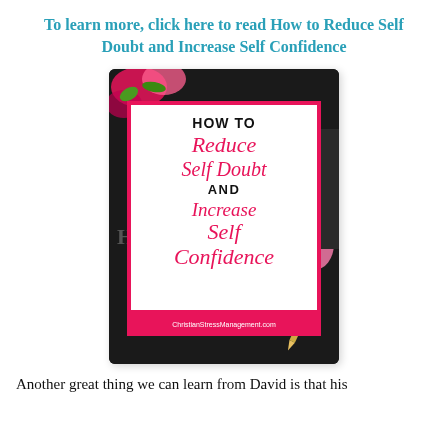To learn more, click here to read How to Reduce Self Doubt and Increase Self Confidence
[Figure (illustration): Book/pin graphic showing a white card with red border on a dark background with flowers. The card reads: HOW TO Reduce Self Doubt AND Increase Self Confidence. ChristianStressManagement.com]
Another great thing we can learn from David is that his